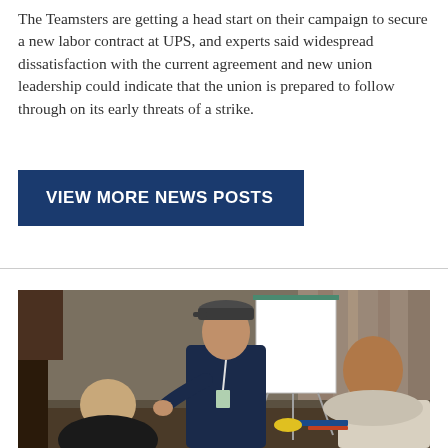The Teamsters are getting a head start on their campaign to secure a new labor contract at UPS, and experts said widespread dissatisfaction with the current agreement and new union leadership could indicate that the union is prepared to follow through on its early threats of a strike.
VIEW MORE NEWS POSTS
[Figure (photo): Three men seated and standing around a table in a meeting room setting. A man in a dark jacket and cap stands in the center gesturing, while two other men listen. A blank flip chart easel is visible in the background.]